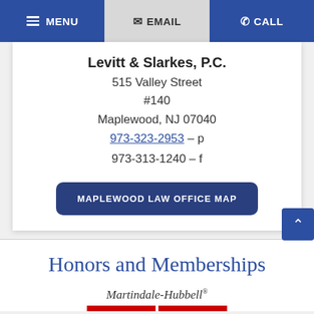MENU  EMAIL  CALL
Levitt & Slarkes, P.C.
515 Valley Street
#140
Maplewood, NJ 07040
973-323-2953 – p
973-313-1240 – f
MAPLEWOOD LAW OFFICE MAP
Honors and Memberships
Martindale-Hubbell